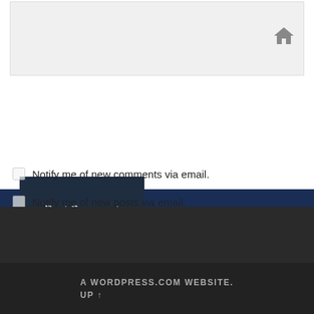[Figure (screenshot): URL/website input field with a grey background and a home icon on the right side]
Post Comment
Notify me of new comments via email.
Notify me of new posts via email.
A WORDPRESS.COM WEBSITE.
UP ↑